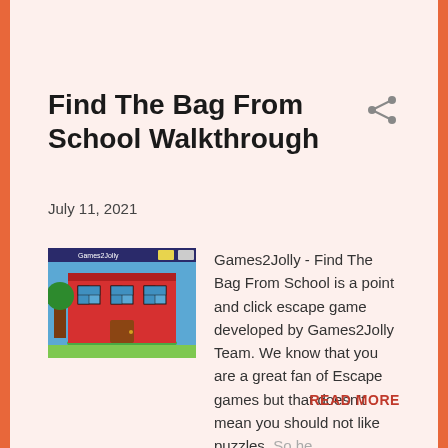Find The Bag From School Walkthrough
July 11, 2021
[Figure (illustration): Screenshot of a video game showing a red school building with blue windows and a green oval on the ground, with a blue sky background.]
Games2Jolly - Find The Bag From School is a point and click escape game developed by Games2Jolly Team. We know that you are a great fan of Escape games but that doesn't mean you should not like puzzles. So he...
READ MORE